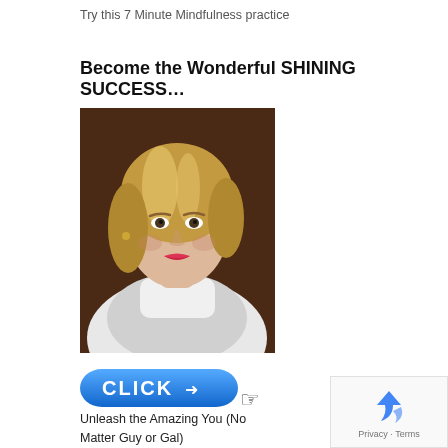Try this 7 Minute Mindfulness practice
Become the Wonderful SHINING SUCCESS...
[Figure (photo): Portrait photo of a blonde woman in a white turtleneck and white fur-collared jacket against a dark brown background]
[Figure (other): Blue CLICK button with sparkle effect and cursor hand pointer icon]
Unleash the Amazing You (No Matter Guy or Gal)